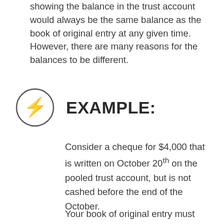showing the balance in the trust account would always be the same balance as the book of original entry at any given time. However, there are many reasons for the balances to be different.
[Figure (illustration): A circle icon containing a lightning bolt symbol, representing an example callout.]
EXAMPLE:
Consider a cheque for $4,000 that is written on October 20th on the pooled trust account, but is not cashed before the end of the October.
Your book of original entry must